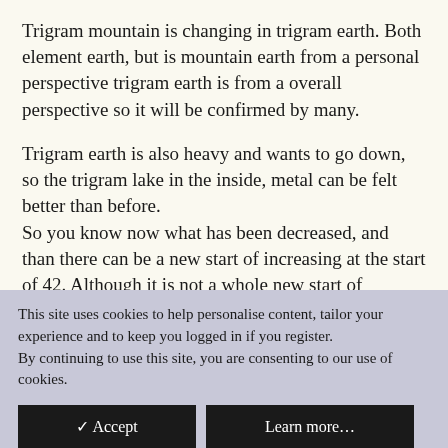Trigram mountain is changing in trigram earth. Both element earth, but is mountain earth from a personal perspective trigram earth is from a overall perspective so it will be confirmed by many.
Trigram earth is also heavy and wants to go down, so the trigram lake in the inside, metal can be felt better than before.
So you know now what has been decreased, and than there can be a new start of increasing at the start of 42. Although it is not a whole new start of something, 41.6 changing in 19 the time of starting of spring but not of
This site uses cookies to help personalise content, tailor your experience and to keep you logged in if you register.
By continuing to use this site, you are consenting to our use of cookies.